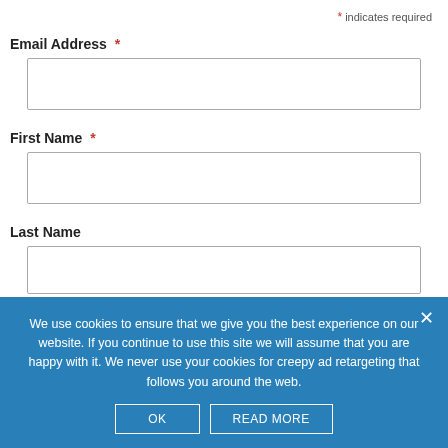* indicates required
Email Address *
First Name *
Last Name
We use cookies to ensure that we give you the best experience on our website. If you continue to use this site we will assume that you are happy with it. We never use your cookies for creepy ad retargeting that follows you around the web.